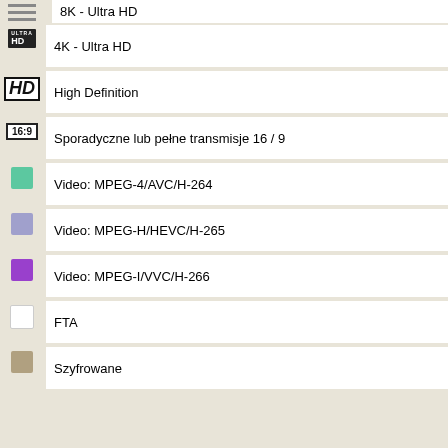8K - Ultra HD
4K - Ultra HD
High Definition
Sporadyczne lub pełne transmisje 16 / 9
Video: MPEG-4/AVC/H-264
Video: MPEG-H/HEVC/H-265
Video: MPEG-I/VVC/H-266
FTA
Szyfrowane